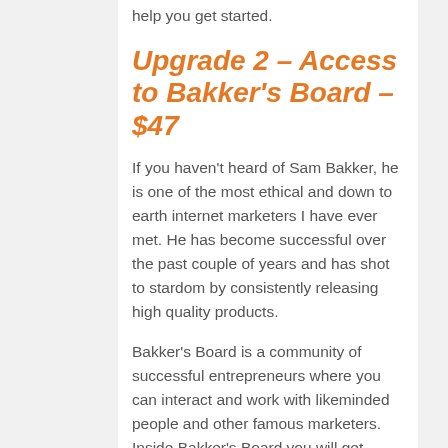help you get started.
Upgrade 2 – Access to Bakker's Board – $47
If you haven't heard of Sam Bakker, he is one of the most ethical and down to earth internet marketers I have ever met. He has become successful over the past couple of years and has shot to stardom by consistently releasing high quality products.
Bakker's Board is a community of successful entrepreneurs where you can interact and work with likeminded people and other famous marketers. Inside Bakker's Board you will get access to famous marketers like Sam Robinson, Josh Ratta, Martin Crumlish and of course Sam Bakker himself.